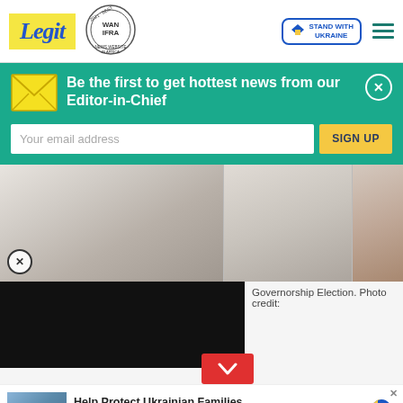[Figure (logo): Legit news website logo in yellow background with italic blue text]
[Figure (logo): WAN-IFRA 2021 Best News Website in Africa circular badge]
[Figure (logo): Stand With Ukraine button with heart icon]
Be the first to get hottest news from our Editor-in-Chief
Your email address
SIGN UP
[Figure (photo): Three photos showing people in white clothing related to a Governorship Election]
Governorship Election. Photo credit:
[Figure (photo): Black video player overlay on left side]
Help Protect Ukrainian Families
DONATE NOW